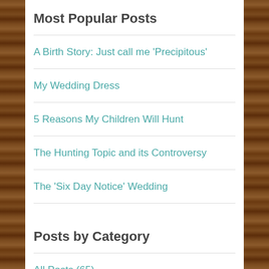Most Popular Posts
A Birth Story: Just call me 'Precipitous'
My Wedding Dress
5 Reasons My Children Will Hunt
The Hunting Topic and its Controversy
The 'Six Day Notice' Wedding
Posts by Category
All Posts (65)